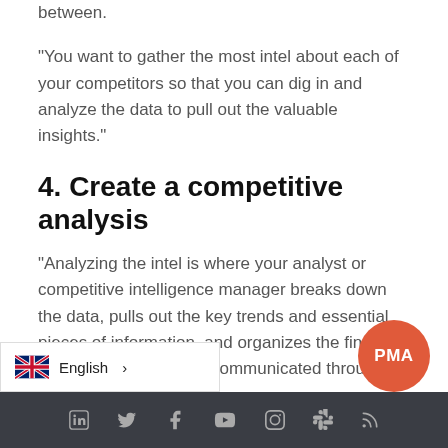between.
"You want to gather the most intel about each of your competitors so that you can dig in and analyze the data to pull out the valuable insights."
4. Create a competitive analysis
"Analyzing the intel is where your analyst or competitive intelligence manager breaks down the data, pulls out the key trends and essential pieces of information, and organizes the findings so that it can be easily communicated throughout your organization.
English | Social media icons footer bar